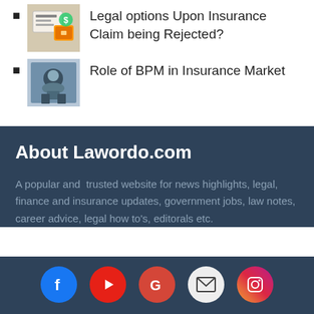Legal options Upon Insurance Claim being Rejected?
Role of BPM in Insurance Market
About Lawordo.com
A popular and  trusted website for news highlights, legal, finance and insurance updates, government jobs, law notes, career advice, legal how to's, editorals etc.
[Figure (infographic): Social media icons row: Facebook, YouTube, Google, Mail, Instagram]
Social icons: Facebook, YouTube, Google, Mail, Instagram